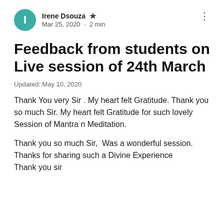Irene Dsouza · Mar 25, 2020 · 2 min
Feedback from students on Live session of 24th March
Updated: May 10, 2020
Thank You very Sir . My heart felt Gratitude. Thank you so much Sir. My heart felt Gratitude for such lovely Session of Mantra n Meditation.
Thank you so much Sir,  Was a wonderful session.
Thanks for sharing such a Divine Experience
Thank you sir